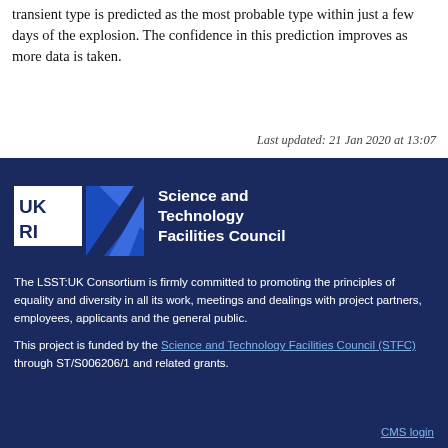transient type is predicted as the most probable type within just a few days of the explosion. The confidence in this prediction improves as more data is taken.
Last updated: 21 Jan 2020 at 13:07
[Figure (logo): UKRI Science and Technology Facilities Council logo on dark blue background]
The LSST:UK Consortium is firmly committed to promoting the principles of equality and diversity in all its work, meetings and dealings with project partners, employees, applicants and the general public.
This project is funded by the Science and Technology Facilities Council (STFC) through ST/S006206/1 and related grants.
CMS login